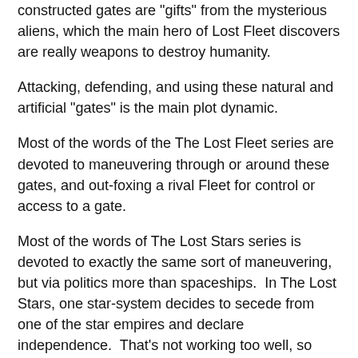constructed gates are "gifts" from the mysterious aliens, which the main hero of Lost Fleet discovers are really weapons to destroy humanity.
Attacking, defending, and using these natural and artificial "gates" is the main plot dynamic.
Most of the words of the The Lost Fleet series are devoted to maneuvering through or around these gates, and out-foxing a rival Fleet for control or access to a gate.
Most of the words of The Lost Stars series is devoted to exactly the same sort of maneuvering, but via politics more than spaceships.  In The Lost Stars, one star-system decides to secede from one of the star empires and declare independence.  That's not working too well, so they start trying to create allies among their nearer neighbors.
Taken together both series paint on an even larger canvas than Koch or Anderson use -- because here we have a Game of "Let's You and Him Fight" -- where an alien species is manipulating Humanity into a centuries-long war, human against human. The are erased by the aliens as initially...